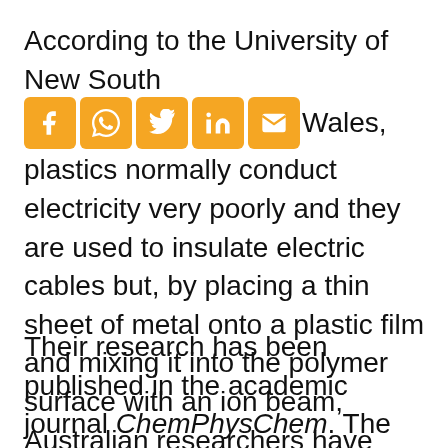According to the University of New South Wales, plastics normally conduct electricity very poorly and they are used to insulate electric cables but, by placing a thin sheet of metal onto a plastic film and mixing it into the polymer surface with an ion beam, Australian researchers have displayed that the system can be used to make inexpensive, durable, flexible and conductive plastics.
[Figure (other): Social media sharing icons: Facebook, WhatsApp, Twitter, LinkedIn, Email]
Their research has been published in the academic journal ChemPhysChem. The